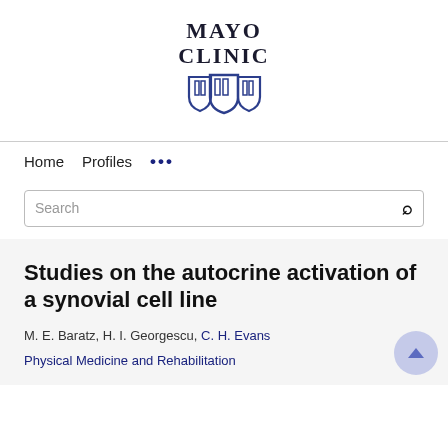[Figure (logo): Mayo Clinic logo with text 'MAYO CLINIC' and three blue shields]
Home  Profiles  ...
Search
Studies on the autocrine activation of a synovial cell line
M. E. Baratz, H. I. Georgescu, C. H. Evans
Physical Medicine and Rehabilitation